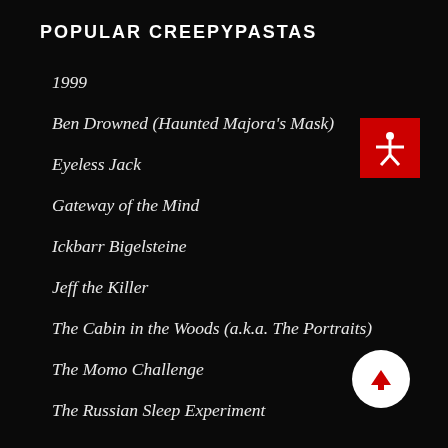POPULAR CREEPYPASTAS
1999
Ben Drowned (Haunted Majora's Mask)
Eyeless Jack
Gateway of the Mind
Ickbarr Bigelsteine
Jeff the Killer
The Cabin in the Woods (a.k.a. The Portraits)
The Momo Challenge
The Russian Sleep Experiment
[Figure (illustration): Red square with white accessibility/human figure icon (arms outstretched)]
[Figure (illustration): White circle with red upward arrow scroll button]